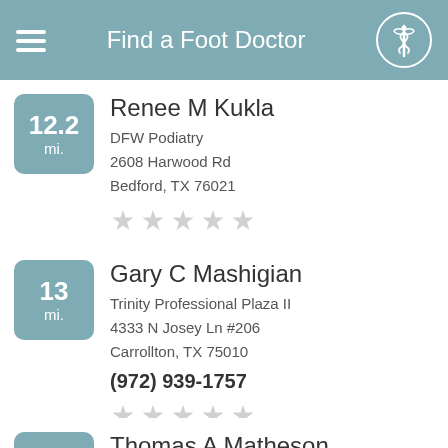Find a Foot Doctor
12.2 mi. | Renee M Kukla | DFW Podiatry | 2608 Harwood Rd | Bedford, TX 76021
13 mi. | Gary C Mashigian | Trinity Professional Plaza II | 4333 N Josey Ln #206 | Carrollton, TX 75010 | (972) 939-1757
11.1 mi. | Thomas A Matheson | 2210 San Jacinto Blvd #5